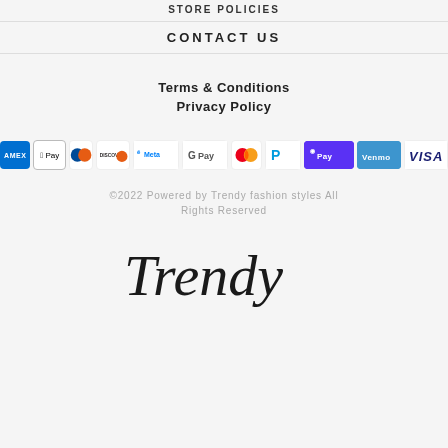STORE POLICIES
CONTACT US
Terms & Conditions
Privacy Policy
[Figure (infographic): Payment method icons: American Express, Apple Pay, Diners Club, Discover, Meta Pay, Google Pay, Mastercard, PayPal, Shop Pay, Venmo, Visa]
©2022 Powered by Trendy fashion styles All Rights Reserved
[Figure (logo): Trendy cursive script logo]